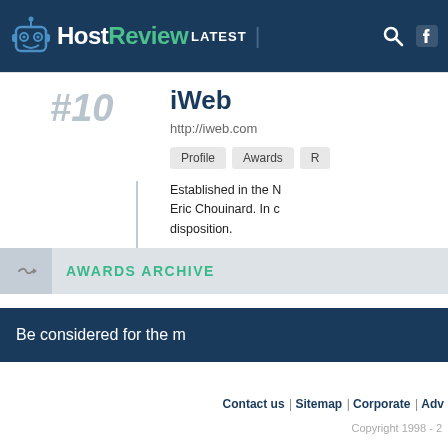HostReview LATEST
#10
iWeb
http://iweb.com
Profile  Awards  R
Established in the N... Eric Chouinard. In c... disposition.
AWARDS ARCHIVE
Be considered for the m
Contact us | Sitemap | Corporate | Adv
Copyright 1998 - 2